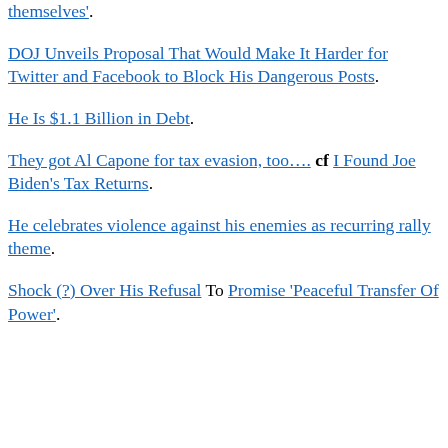themselves'.
DOJ Unveils Proposal That Would Make It Harder for Twitter and Facebook to Block His Dangerous Posts.
He Is $1.1 Billion in Debt.
They got Al Capone for tax evasion, too…. cf I Found Joe Biden's Tax Returns.
He celebrates violence against his enemies as recurring rally theme.
Shock (?) Over His Refusal To Promise 'Peaceful Transfer Of Power'.